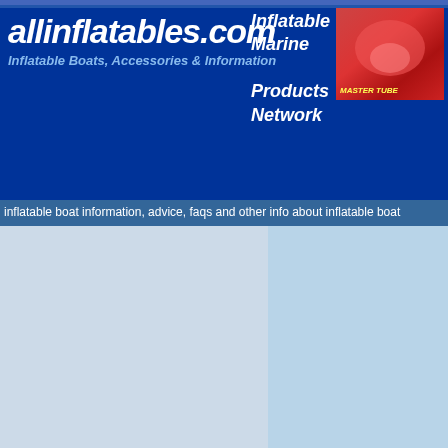allinflatables.com — Inflatable Boats, Accessories & Information / Inflatable Marine Products Network
inflatable boat information, advice, faqs and other info about inflatable boat
Back To Info Index
[Figure (screenshot): Shop Online aerial view image]
Main Index
Shop Online
Supplier's Listing
Become A Member
Classified Ads
Business Services
Research Info
Picture Library
Homepage
Inflatable Boating - Lege...
Synonymous for quality, inflatable... tough boats built to withstand the m...
[Figure (photo): Close-up photo of red inflatable boat fabric/material]
As an example of quality assurance, every y... hundred thousand square meters of fabric a... individually tested and checked.